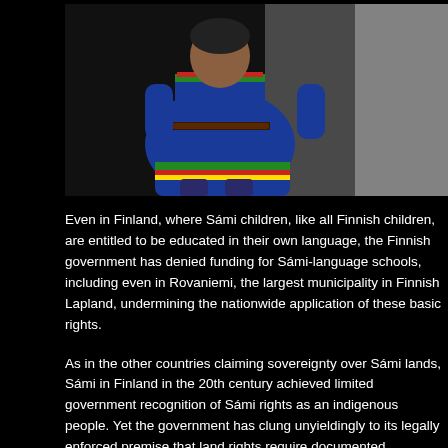[Figure (photo): Child wearing traditional Sámi blue dress/gákti with colorful embroidered trim and belt, standing outdoors]
Even in Finland, where Sámi children, like all Finnish children, are entitled to be educated in their own language, the Finnish government has denied funding for Sámi-language schools, including even in Rovaniemi, the largest municipality in Finnish Lapland, undermining the nationwide application of these basic rights.
As in the other countries claiming sovereignty over Sámi lands, Sámi in Finland in the 20th century achieved limited government recognition of Sámi rights as an indigenous people. Yet the government has clung unyieldingly to its legally enforced premise that land rights require documented ownership, an idea incompatible with and antithetical to the traditional Sámi relationship to land. This has effectively allowed the Finnish government to take land occupied by Sámi for generations without compensation.
On Sámi National Day, not only do Sámi throughout Sápmi raise the Sámi flag in celebration, they also do a range of activities traditionally associated with Sámi culture. They often prepare traditional dishes and play or listen to traditional music.